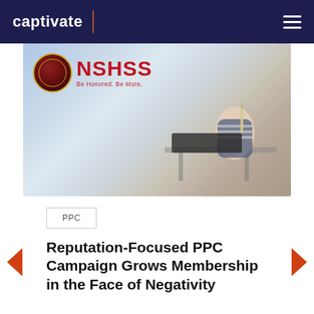captivate
[Figure (photo): Student writing at a desk in a classroom, with NSHSS (National Society of High School Scholars) logo overlay. The NSHSS logo reads 'NSHSS Be Honored. Be More.']
PPC
Reputation-Focused PPC Campaign Grows Membership in the Face of Negativity
The Prompt: STIR for NSHSS, one of...